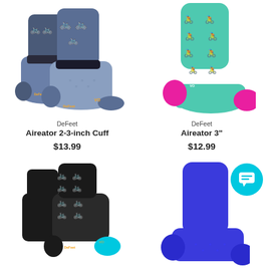[Figure (photo): DeFeet Aireator 2-3-inch Cuff socks in blue/grey with yellow bicycle pattern]
DeFeet
Aireator 2-3-inch Cuff
$13.99
[Figure (photo): DeFeet Aireator 3" socks in teal/mint with pink bicycle pattern and pink toe]
DeFeet
Aireator 3"
$12.99
[Figure (photo): DeFeet socks in black with colorful bicycle pattern and teal toe]
[Figure (photo): Blue DeFeet sock with chat bubble overlay icon]